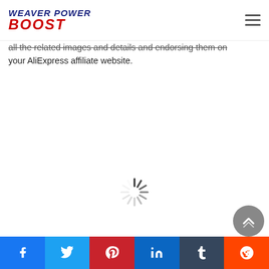WEAVER POWER BOOST
all the related images and details and endorsing them on your AliExpress affiliate website.
[Figure (other): Loading spinner / activity indicator in the center of the page]
Social share bar with Facebook, Twitter, Pinterest, LinkedIn, Tumblr, Reddit buttons